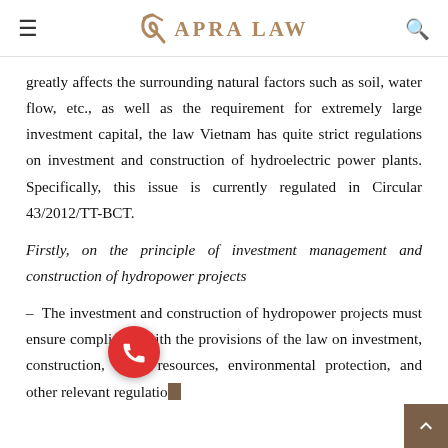RAPRA LAW
greatly affects the surrounding natural factors such as soil, water flow, etc., as well as the requirement for extremely large investment capital, the law Vietnam has quite strict regulations on investment and construction of hydroelectric power plants. Specifically, this issue is currently regulated in Circular 43/2012/TT-BCT.
Firstly, on the principle of investment management and construction of hydropower projects
– The investment and construction of hydropower projects must ensure compliance with the provisions of the law on investment, construction, water resources, environmental protection, and other relevant regulations...